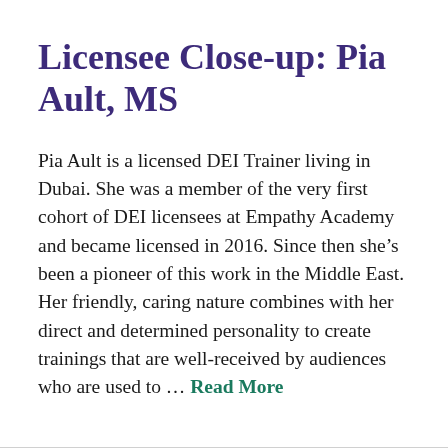Licensee Close-up: Pia Ault, MS
Pia Ault is a licensed DEI Trainer living in Dubai. She was a member of the very first cohort of DEI licensees at Empathy Academy and became licensed in 2016. Since then she’s been a pioneer of this work in the Middle East. Her friendly, caring nature combines with her direct and determined personality to create trainings that are well-received by audiences who are used to … Read More